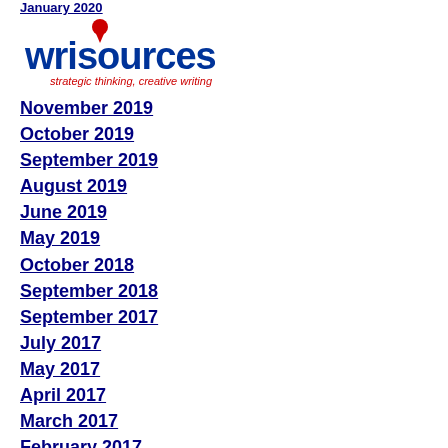[Figure (logo): WriSources logo - blue stylized text reading 'wrisources' with a red location pin dot, tagline 'strategic thinking, creative writing' in red italic]
January 2020
November 2019
October 2019
September 2019
August 2019
June 2019
May 2019
October 2018
September 2018
September 2017
July 2017
May 2017
April 2017
March 2017
February 2017
January 2017
December 2016
November 2016